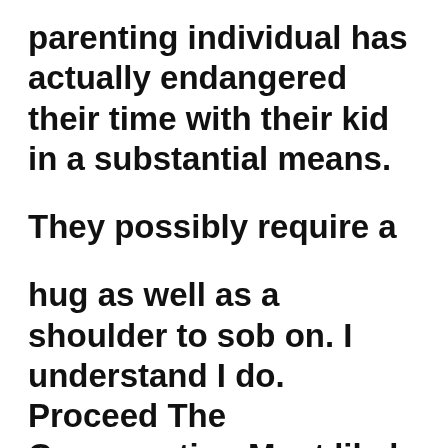parenting individual has actually endangered their time with their kid in a substantial means.
They possibly require a
hug as well as a shoulder to sob on. I understand I do. Proceed The Conversation Most likely very little to